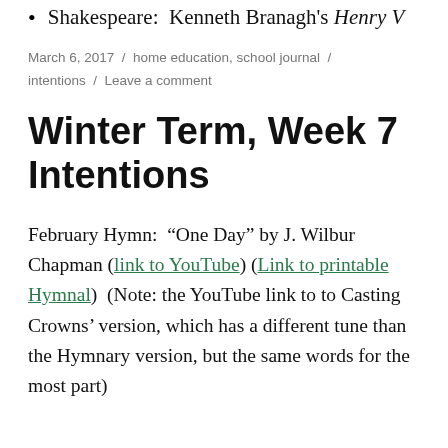Shakespeare:  Kenneth Branagh's Henry V
March 6, 2017  /  home education, school journal  /  intentions  /  Leave a comment
Winter Term, Week 7 Intentions
February Hymn:  “One Day” by J. Wilbur Chapman (link to YouTube) (Link to printable Hymnal)  (Note: the YouTube link to to Casting Crowns’ version, which has a different tune than the Hymnary version, but the same words for the most part)